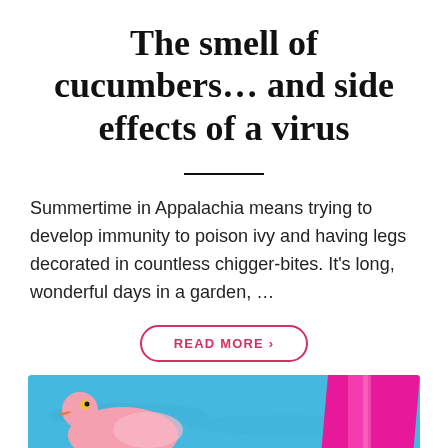The smell of cucumbers… and side effects of a virus
Summertime in Appalachia means trying to develop immunity to poison ivy and having legs decorated in countless chigger-bites. It's long, wonderful days in a garden, …
READ MORE ›
[Figure (infographic): Social share icons: Facebook (blue), Pinterest (red), Twitter (light blue), Share/Plus (blue)]
August 12, 2020   Neena
[Figure (photo): Bottom portion of image showing a pink flamingo pool float and a magenta/pink inflatable in a blue pool]